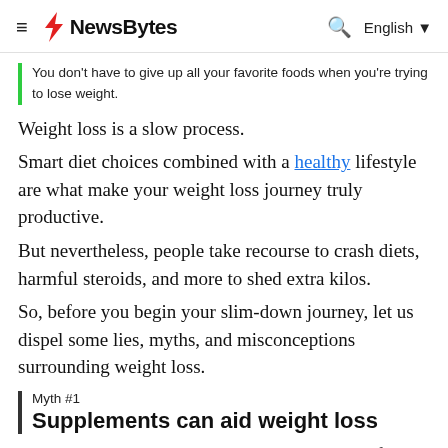NewsBytes — English
You don't have to give up all your favorite foods when you're trying to lose weight.
Weight loss is a slow process.
Smart diet choices combined with a healthy lifestyle are what make your weight loss journey truly productive.
But nevertheless, people take recourse to crash diets, harmful steroids, and more to shed extra kilos.
So, before you begin your slim-down journey, let us dispel some lies, myths, and misconceptions surrounding weight loss.
Myth #1
Supplements can aid weight loss
Certain supplements claim they can burn body fat.
However, in reality, they are not effective and can be